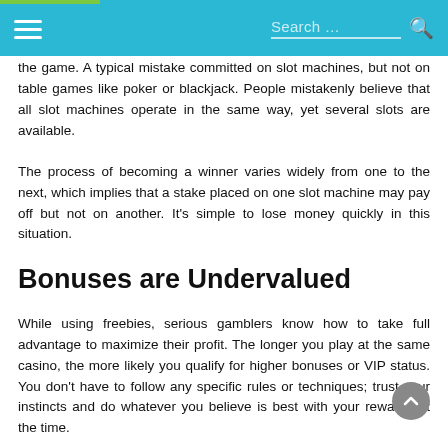Search …
the game. A typical mistake committed on slot machines, but not on table games like poker or blackjack. People mistakenly believe that all slot machines operate in the same way, yet several slots are available.
The process of becoming a winner varies widely from one to the next, which implies that a stake placed on one slot machine may pay off but not on another. It's simple to lose money quickly in this situation.
Bonuses are Undervalued
While using freebies, serious gamblers know how to take full advantage to maximize their profit. The longer you play at the same casino, the more likely you qualify for higher bonuses or VIP status. You don't have to follow any specific rules or techniques; trust your instincts and do whatever you believe is best with your rewards at the time.
Falling for Phony Bargains